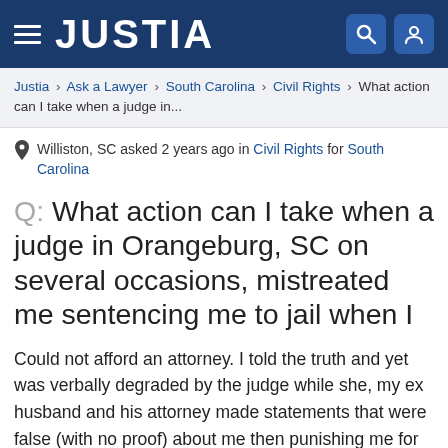JUSTIA
Justia › Ask a Lawyer › South Carolina › Civil Rights › What action can I take when a judge in...
Williston, SC asked 2 years ago in Civil Rights for South Carolina
Q: What action can I take when a judge in Orangeburg, SC on several occasions, mistreated me sentencing me to jail when I
Could not afford an attorney. I told the truth and yet was verbally degraded by the judge while she, my ex husband and his attorney made statements that were false (with no proof) about me then punishing me for acts that I had not done. The judge was extremely